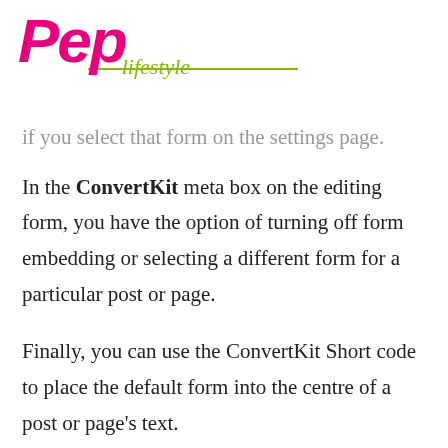Pep Lifestyle
if you select that form on the settings page.
In the ConvertKit meta box on the editing form, you have the option of turning off form embedding or selecting a different form for a particular post or page.
Finally, you can use the ConvertKit Short code to place the default form into the centre of a post or page's text.
CONFEHURATION